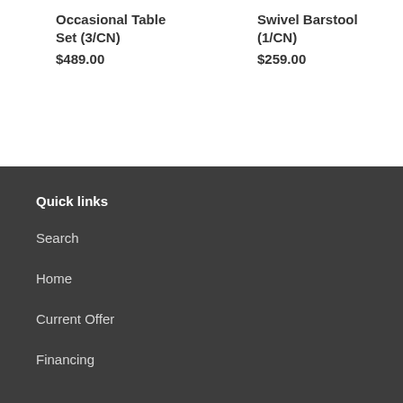Occasional Table Set (3/CN)
$489.00
Swivel Barstool (1/CN)
$259.00
Quick links
Search
Home
Current Offer
Financing